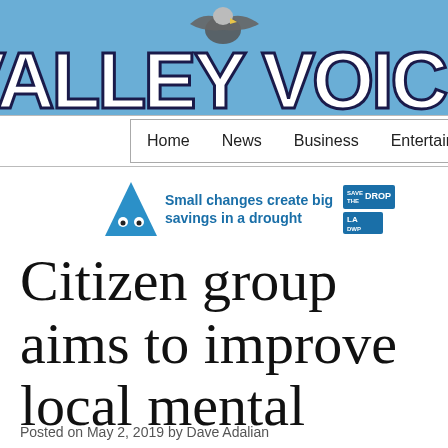Valley Voice
Home  News  Business  Entertainment  Opinion
[Figure (infographic): Ad banner: blue triangle mascot with eyes, text 'Small changes create big savings in a drought', Save the Drop and LA DWP logos]
Citizen group aims to improve local mental health care
Posted on May 2, 2019 by Dave Adalian